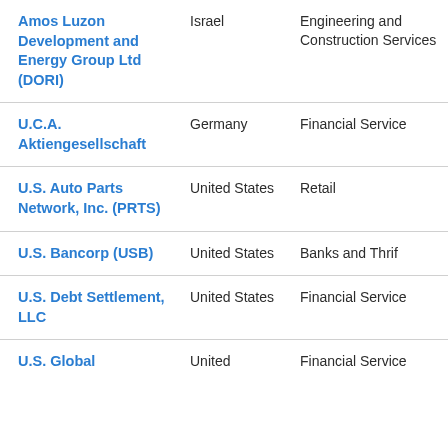| Amos Luzon Development and Energy Group Ltd (DORI) | Israel | Engineering and Construction Services |
| U.C.A. Aktiengesellschaft | Germany | Financial Service |
| U.S. Auto Parts Network, Inc. (PRTS) | United States | Retail |
| U.S. Bancorp (USB) | United States | Banks and Thrif |
| U.S. Debt Settlement, LLC | United States | Financial Service |
| U.S. Global | United | Financial Service |